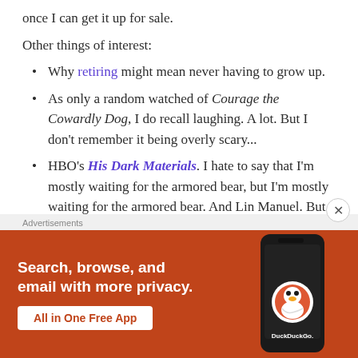once I can get it up for sale.
Other things of interest:
Why retiring might mean never having to grow up.
As only a random watched of Courage the Cowardly Dog, I do recall laughing. A lot. But I don't remember it being overly scary...
HBO's His Dark Materials. I hate to say that I'm mostly waiting for the armored bear, but I'm mostly waiting for the armored bear. And Lin Manuel. But I really want him to finish his work on the Name of the Wind adaptation!
Speaking of Lin Manuel, the Drama Book Shop is
[Figure (screenshot): DuckDuckGo advertisement banner with orange background. Text reads: Search, browse, and email with more privacy. All in One Free App. Shows a smartphone with the DuckDuckGo logo.]